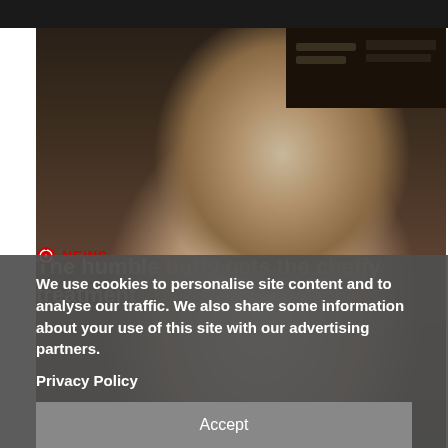[Figure (photo): Dark top banner strip at the top of the page]
[Figure (photo): Photo of a male chef in white chef's coat seated in a dark restaurant kitchen environment with shelves in background]
NEWS
The humble butty gets the cheffy treatment
We use cookies to personalise site content and to analyse our traffic. We also share some information about your use of this site with our advertising partners.
Privacy Policy
Accept